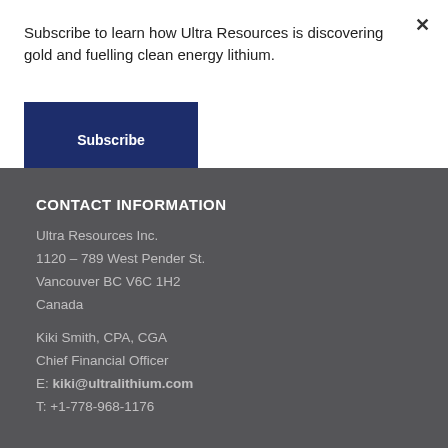Subscribe to learn how Ultra Resources is discovering gold and fuelling clean energy lithium.
Subscribe
CONTACT INFORMATION
Ultra Resources Inc.
1120 – 789 West Pender St.
Vancouver BC V6C 1H2
Canada
Kiki Smith, CPA, CGA
Chief Financial Officer
E: kiki@ultralithium.com
T: +1-778-968-1176